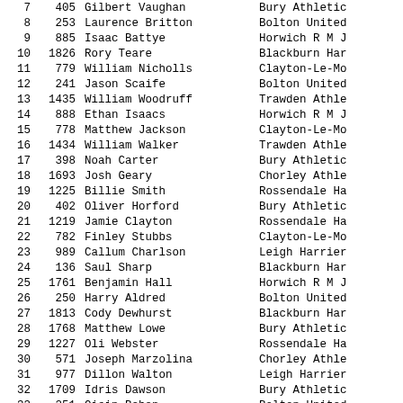| Pos | Bib | Name | Club |
| --- | --- | --- | --- |
| 7 | 405 | Gilbert Vaughan | Bury Athletic |
| 8 | 253 | Laurence Britton | Bolton United |
| 9 | 885 | Isaac Battye | Horwich R M J |
| 10 | 1826 | Rory Teare | Blackburn Har |
| 11 | 779 | William Nicholls | Clayton-Le-Mo |
| 12 | 241 | Jason Scaife | Bolton United |
| 13 | 1435 | William Woodruff | Trawden Athle |
| 14 | 888 | Ethan Isaacs | Horwich R M J |
| 15 | 778 | Matthew Jackson | Clayton-Le-Mo |
| 16 | 1434 | William Walker | Trawden Athle |
| 17 | 398 | Noah Carter | Bury Athletic |
| 18 | 1693 | Josh Geary | Chorley Athle |
| 19 | 1225 | Billie Smith | Rossendale Ha |
| 20 | 402 | Oliver Horford | Bury Athletic |
| 21 | 1219 | Jamie Clayton | Rossendale Ha |
| 22 | 782 | Finley Stubbs | Clayton-Le-Mo |
| 23 | 989 | Callum Charlson | Leigh Harrier |
| 24 | 136 | Saul Sharp | Blackburn Har |
| 25 | 1761 | Benjamin Hall | Horwich R M J |
| 26 | 250 | Harry Aldred | Bolton United |
| 27 | 1813 | Cody Dewhurst | Blackburn Har |
| 28 | 1768 | Matthew Lowe | Bury Athletic |
| 29 | 1227 | Oli Webster | Rossendale Ha |
| 30 | 571 | Joseph Marzolina | Chorley Athle |
| 31 | 977 | Dillon Walton | Leigh Harrier |
| 32 | 1709 | Idris Dawson | Bury Athletic |
| 33 | 251 | Oisin Behan | Bolton United |
| 34 | 194 | Harry Quilliam | Bolton Triath |
| 35 | 1555 | Ben Krelle | Bolton Triath |
| 36 | 396 | Nathan Ardin | Bury Athletic |